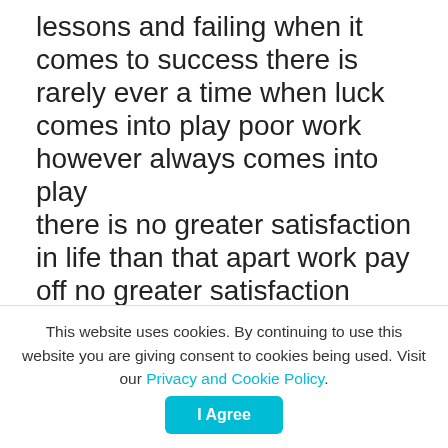lessons and failing when it comes to success there is rarely ever a time when luck comes into play poor work however always comes into play there is no greater satisfaction in life than that apart work pay off no greater satisfaction then knowing you are self may take action while all others are sitting on their hands the great difference between the somebodies and a nobody very often only comes down to who is willing to take action who was willing to put in the work the ground are you willing some of your going to
This website uses cookies. By continuing to use this website you are giving consent to cookies being used. Visit our Privacy and Cookie Policy.